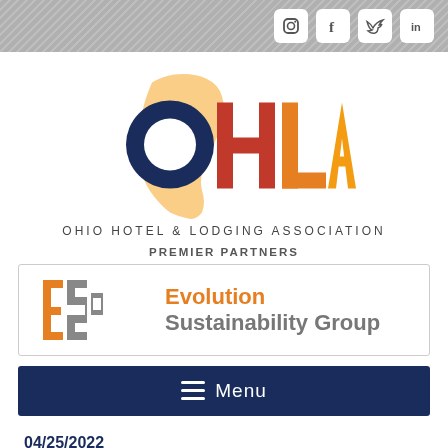Social media icons: Instagram, Facebook, Twitter, LinkedIn
[Figure (logo): OHLA Ohio Hotel & Lodging Association logo — large letters O H L A with Ohio state silhouette in orange/gold, O in navy, H in red, LA in orange/gold gradient, with text OHIO HOTEL & LODGING ASSOCIATION below]
PREMIER PARTNERS
[Figure (logo): Evolution Sustainability Group logo — ESG letters in orange/grey stacked, with company name Evolution Sustainability Group in orange and grey text]
≡ Menu
04/25/2022
Advocate General Adv...